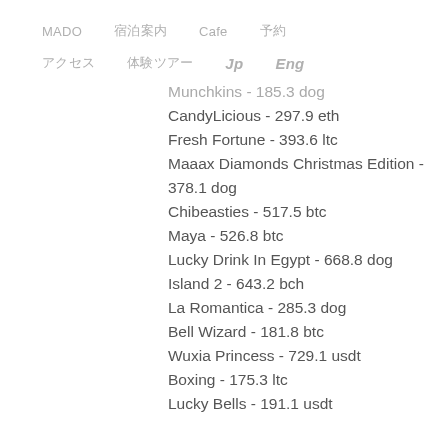MADO　宿泊案内　Cafe　予約
アクセス　体験ツアー　Jp　Eng
Munchkins - 185.3 dog
CandyLicious - 297.9 eth
Fresh Fortune - 393.6 ltc
Maaax Diamonds Christmas Edition - 378.1 dog
Chibeasties - 517.5 btc
Maya - 526.8 btc
Lucky Drink In Egypt - 668.8 dog
Island 2 - 643.2 bch
La Romantica - 285.3 dog
Bell Wizard - 181.8 btc
Wuxia Princess - 729.1 usdt
Boxing - 175.3 ltc
Lucky Bells - 191.1 usdt